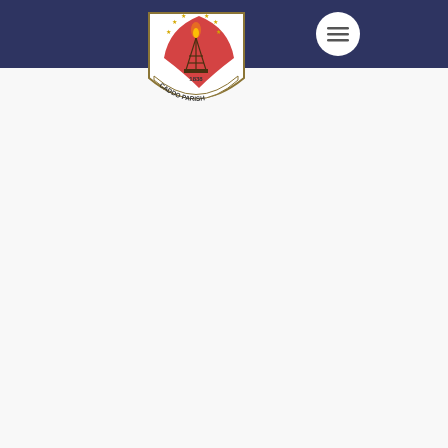[Figure (logo): Caddo Parish seal/crest logo with shield shape, oil derrick, torch, stars, and text 'CADDO PARISH 1838']
[Figure (other): Hamburger menu button (three horizontal lines) in a white circle on the navy navigation bar]